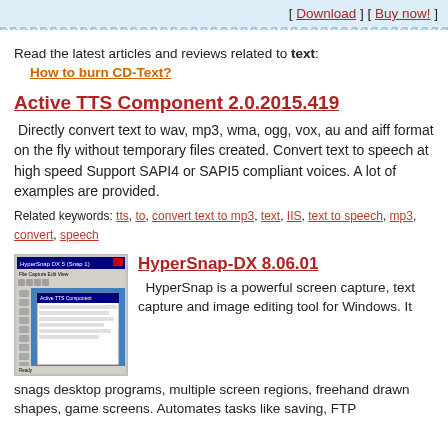[ Download ] [ Buy now! ]
Read the latest articles and reviews related to text:
How to burn CD-Text?
Active TTS Component 2.0.2015.419
Directly convert text to wav, mp3, wma, ogg, vox, au and aiff format on the fly without temporary files created. Convert text to speech at high speed Support SAPI4 or SAPI5 compliant voices. A lot of examples are provided.
Related keywords: tts, to, convert text to mp3, text, IIS, text to speech, mp3, convert, speech
[Figure (screenshot): Screenshot of HyperSnap-DX software showing a Windows application with toolbars and a text editor window]
HyperSnap-DX 8.06.01
HyperSnap is a powerful screen capture, text capture and image editing tool for Windows. It snags desktop programs, multiple screen regions, freehand drawn shapes, game screens. Automates tasks like saving, FTP